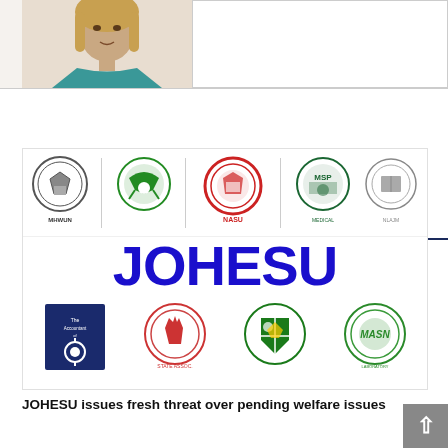[Figure (photo): Photo of a woman with long hair wearing a teal/turquoise top, shown from shoulders up against a light background]
RELATED ARTICLES
[Figure (logo): JOHESU related article card showing multiple union logos (MHWUN, NASU, MSP, and others) with the large blue text 'JOHESU' in the middle and additional union logos below]
JOHESU issues fresh threat over pending welfare issues